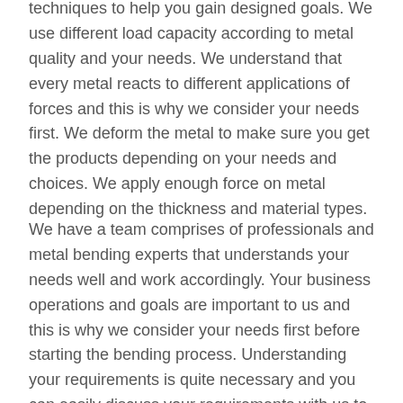techniques to help you gain designed goals. We use different load capacity according to metal quality and your needs. We understand that every metal reacts to different applications of forces and this is why we consider your needs first. We deform the metal to make sure you get the products depending on your needs and choices. We apply enough force on metal depending on the thickness and material types.
We have a team comprises of professionals and metal bending experts that understands your needs well and work accordingly. Your business operations and goals are important to us and this is why we consider your needs first before starting the bending process. Understanding your requirements is quite necessary and you can easily discuss your requirements with us to get desired results. What makes us the best choice for sheet metal bending process is our vision to perfection and quality. We believe enough force needs to be applied to bend material